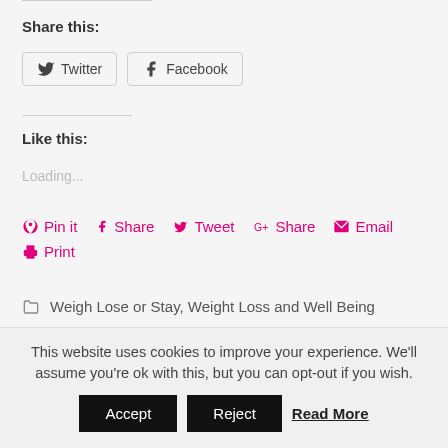Share this:
[Figure (other): Twitter and Facebook social sharing buttons]
Like this:
Loading...
Pin it  Share  Tweet  Share  Email  Print
Weigh Lose or Stay, Weight Loss and Well Being
This website uses cookies to improve your experience. We'll assume you're ok with this, but you can opt-out if you wish. Accept Reject Read More